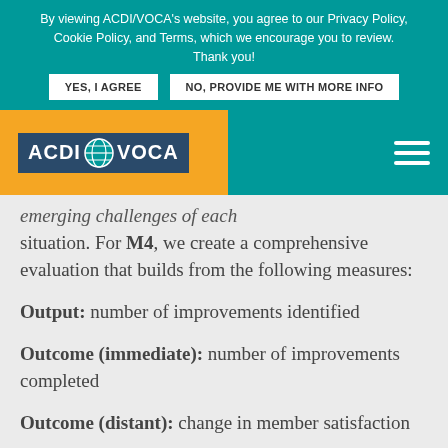By viewing ACDI/VOCA's website, you agree to our Privacy Policy, Cookie Policy, and Terms, which we encourage you to review. Thank you!
YES, I AGREE | NO, PROVIDE ME WITH MORE INFO
[Figure (logo): ACDI/VOCA logo on orange/teal navigation bar with hamburger menu]
emerging challenges of each situation. For M4, we create a comprehensive evaluation that builds from the following measures:
Output: number of improvements identified
Outcome (immediate): number of improvements completed
Outcome (distant): change in member satisfaction
m4@acdivoca.org